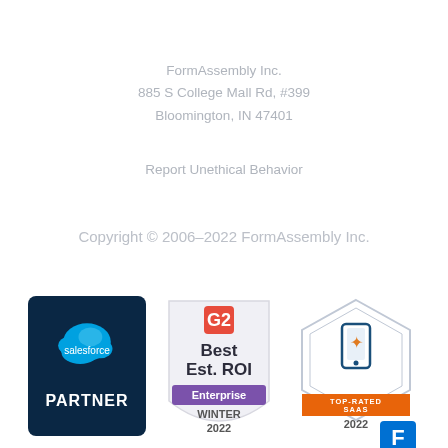FormAssembly Inc.
885 S College Mall Rd, #399
Bloomington, IN 47401
Report Unethical Behavior
Copyright © 2006–2022 FormAssembly Inc.
[Figure (logo): Salesforce Partner badge - dark navy blue background with Salesforce cloud logo and PARTNER text]
[Figure (logo): G2 Best Est. ROI Enterprise Winter 2022 badge]
[Figure (logo): Top-Rated SaaS 2022 badge with hexagon shape and FormAssembly F logo]